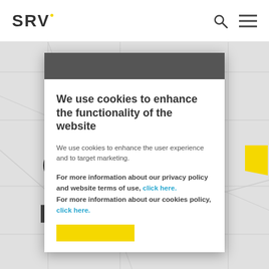SRV
We use cookies to enhance the functionality of the website
We use cookies to enhance the user experience and to target marketing.
For more information about our privacy policy and website terms of use, click here. For more information about our cookies policy, click here.